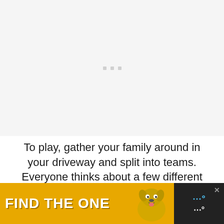[Figure (other): Light gray placeholder area with three small gray squares/dots centered, indicating a loading or placeholder image region]
To play, gather your family around in your driveway and split into teams. Everyone thinks about a few different things that they learned at church. One person goes up at a time and starts drawing on the pavement with chalk what they learned, while their team starts guessing
[Figure (other): Advertisement banner: yellow background with bold white text 'FIND THE ONE' and an image of a dog on the right side, with a dark panel showing an X close button and logo text]